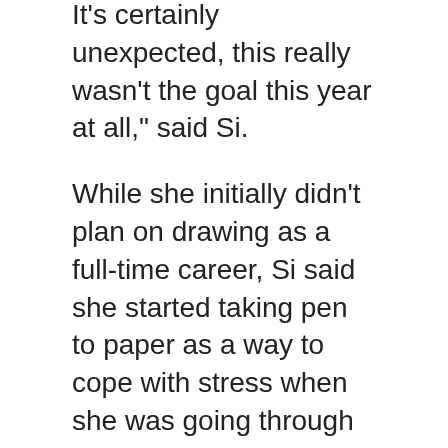It's certainly unexpected, this really wasn't the goal this year at all," said Si.
While she initially didn't plan on drawing as a full-time career, Si said she started taking pen to paper as a way to cope with stress when she was going through law school.
"I started a website where I made a goal to post one drawing every day for a year...my following online just kind of grew organically," she said.
"When I became a lawyer, I kept drawing cartoons about my everyday life…it was just a funny way to blow off steam and people found it quite relatable."
Si said she didn't know editorial cartoonists could win a Pulitzer Prize until 2020, when long-